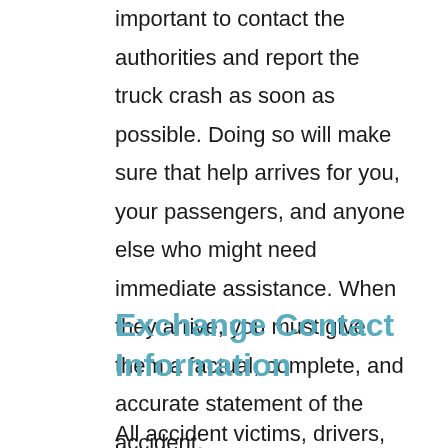important to contact the authorities and report the truck crash as soon as possible. Doing so will make sure that help arrives for you, your passengers, and anyone else who might need immediate assistance. When they arrive, you must give them a factual, complete, and accurate statement of the accident.
Exchange Contact Information
All accident victims, drivers, and